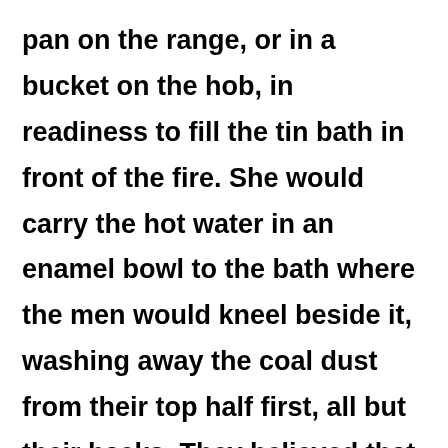pan on the range, or in a bucket on the hob, in readiness to fill the tin bath in front of the fire. She would carry the hot water in an enamel bowl to the bath where the men would kneel beside it, washing away the coal dust from their top half first, all but their backs. They believed that the coal dust strengthened their backs, protecting them from the